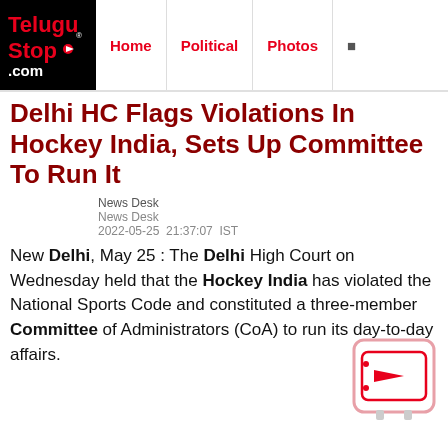TeluguStop.com | Home | Political | Photos
Delhi HC Flags Violations In Hockey India, Sets Up Committee To Run It
News Desk
News Desk
2022-05-25  21:37:07  IST
New Delhi, May 25 : The Delhi High Court on Wednesday held that the Hockey India has violated the National Sports Code and constituted a three-member Committee of Administrators (CoA) to run its day-to-day affairs.